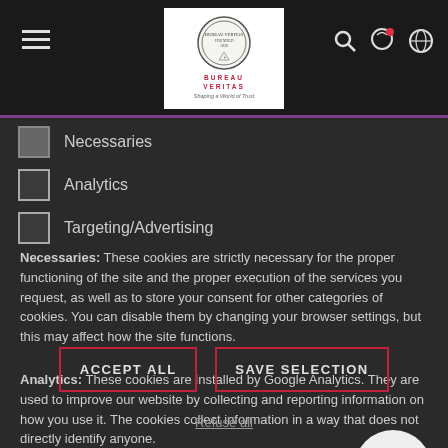[Figure (screenshot): Bureau Veritas website header with hamburger menu icon, Bureau Veritas logo (seal with 'Shaping a World of Trust'), search icon, user icon, and globe/language icon]
Necessaries (checked)
Analytics (unchecked)
Targeting/Advertising (unchecked)
Necessaries: These cookies are strictly necessary for the proper functioning of the site and the proper execution of the services you request, as well as to store your consent for other categories of cookies. You can disable them by changing your browser settings, but this may affect how the site functions.
Analytics: These cookies are installed by Google Analytics. They are used to improve our website by collecting and reporting information on how you use it. The cookies collect information in a way that does not directly identify anyone.
ACCEPT ALL
SAVE SELECTION
Refuse all